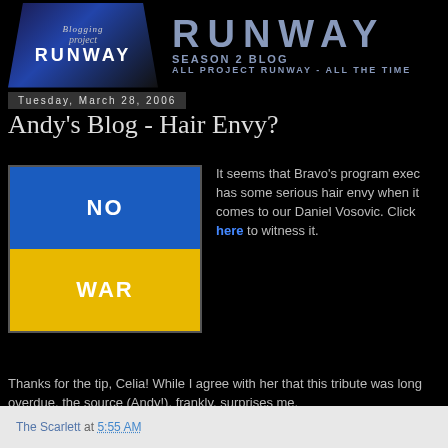[Figure (logo): Blogging Project Runway logo with diamond/chevron shape on dark blue background, alongside large 'RUNWAY' text with 'SEASON 2 BLOG / ALL PROJECT RUNWAY - ALL THE TIME']
Tuesday, March 28, 2006
Andy's Blog - Hair Envy?
[Figure (illustration): Blue and yellow rectangle divided in half, top blue section with white text 'NO', bottom yellow section with white text 'WAR']
It seems that Bravo's program exec has some serious hair envy when it comes to our Daniel Vosovic. Click here to witness it.
Thanks for the tip, Celia! While I agree with her that this tribute was long overdue, the source (Andy!), frankly, surprises me.
The Scarlett at 5:55 AM